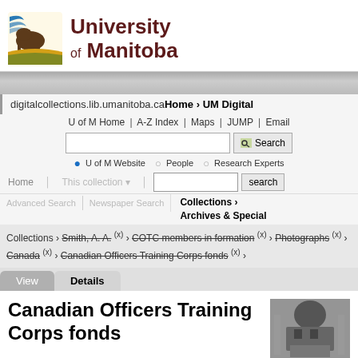[Figure (logo): University of Manitoba logo with bison and shield]
University of Manitoba
digitalcollections.lib.umanitoba.ca Home › UM Digital
U of M Home | A-Z Index | Maps | JUMP | Email
U of M Website  People  Research Experts
Home   This collection   search
Advanced Search | Newspaper Search | Collections › Archives & Special
Collections › Smith, A. A. (x) › COTC members in formation (x) › Photographs (x) › Canada (x) › Canadian Officers Training Corps fonds (x) ›
View   Details
Canadian Officers Training Corps fonds